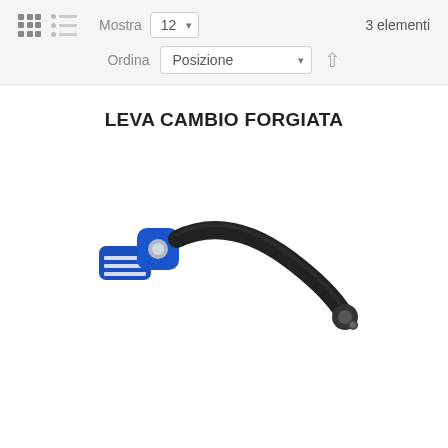Mostra 12  3 elementi | Ordina Posizione
LEVA CAMBIO FORGIATA
[Figure (photo): A forged gear shift lever (leva cambio forgiata) with a black curved arm and a blue anodized aluminum tip/toe piece with white stripe grooves, and a silver pivot bolt.]